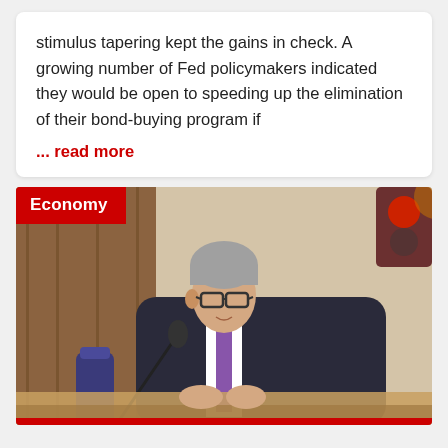stimulus tapering kept the gains in check. A growing number of Fed policymakers indicated they would be open to speeding up the elimination of their bond-buying program if
... read more
[Figure (photo): Photo of a man in a dark suit with a purple tie, grey hair, wearing glasses, speaking at a hearing with a microphone in front of him. A red traffic light and wooden paneling visible in background. Economy category badge in top-left corner.]